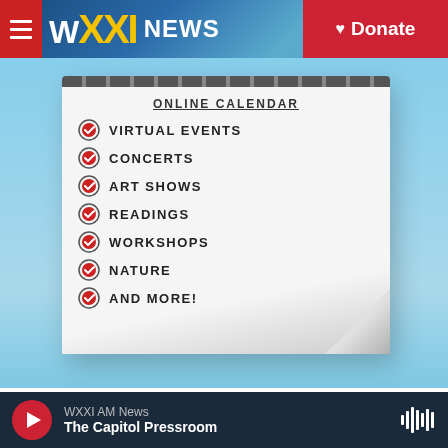WXXI NEWS | Donate
[Figure (illustration): WXXI Online Calendar illustration with checklist items: VIRTUAL EVENTS, CONCERTS, ART SHOWS, READINGS, WORKSHOPS, NATURE, AND MORE! on a light blue background with a notepad graphic.]
Check out all the virtual and in-person events on the CITY event calendar you can be a part of!
See All The Events
WXXI AM News | The Capitol Pressroom